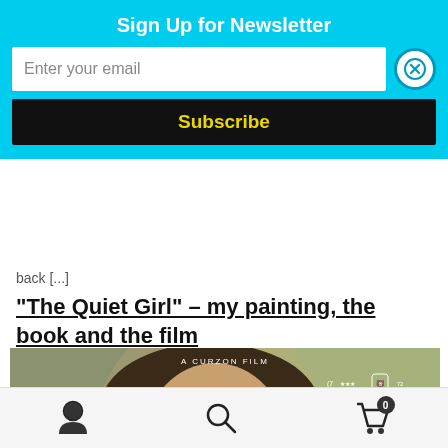Sign Up for Newsletter
Enter your email
Subscribe
back [...]
“The Quiet Girl” – my painting, the book and the film
[Figure (photo): Film poster for 'The Quiet Girl' - A Curzon Film. Shows a young girl with long brown hair looking serious. Text reads 'A truly remarkable new Irish Film'. Four rows of 5-star ratings. Title 'The Quiet' visible at bottom. Awards logos including (7) and Berlinale 72 shown.]
User account icon | Search icon | Shopping cart (0)